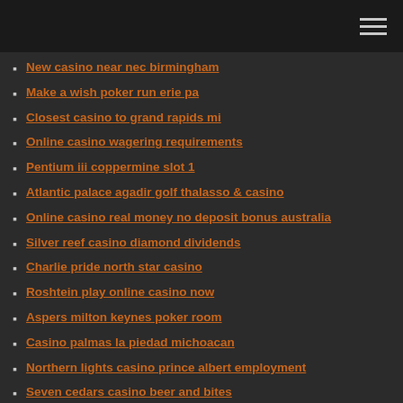New casino near nec birmingham
Make a wish poker run erie pa
Closest casino to grand rapids mi
Online casino wagering requirements
Pentium iii coppermine slot 1
Atlantic palace agadir golf thalasso & casino
Online casino real money no deposit bonus australia
Silver reef casino diamond dividends
Charlie pride north star casino
Roshtein play online casino now
Aspers milton keynes poker room
Casino palmas la piedad michoacan
Northern lights casino prince albert employment
Seven cedars casino beer and bites